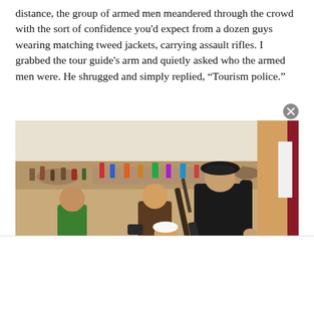distance, the group of armed men meandered through the crowd with the sort of confidence you'd expect from a dozen guys wearing matching tweed jackets, carrying assault rifles. I grabbed the tour guide's arm and quietly asked who the armed men were. He shrugged and simply replied, “Tourism police.”
[Figure (photo): Outdoor desert scene showing a crowd of tourists and locals on sandy terrain. In the foreground, a man in a black uniform wearing a black beret carries an assault rifle slung over his shoulder, reaching toward a wall on the right. A woman in a brown shirt holds a camera, a child in a white cap is nearby, and a man in a green shirt walks to the left. Many people and camels are visible in the background.]